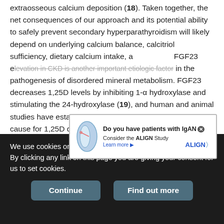extraosseous calcium deposition (18). Taken together, the net consequences of our approach and its potential ability to safely prevent secondary hyperparathyroidism will likely depend on underlying calcium balance, calcitriol sufficiency, dietary calcium intake, a[nd...] FGF23 e[levation in CKD is another important etiologic factor] in the pathogenesis of disordered mineral metabolism. FGF23 decreases 1,25D levels by inhibiting 1-α hydroxylase and stimulating the 24-hydroxylase (19), and human and animal studies have established FGF23 excess as a primary cause for 1,25D deficiency in CKD, which in turn, leads to secondary hyperparathyroidism (20,21). FGF23 levels are increased in states of dietary phosphate loading (22), calcitriol supplementation (23), and decreased kidney function
[Figure (other): Advertisement overlay: 'Do you have patients with IgAN? Consider the ALIGN Study. Learn more.' with kidney illustration and ALIGN logo.]
We use cookies on this site to enhance your user experience. By clicking any link on this page you are giving your consent for us to set cookies.